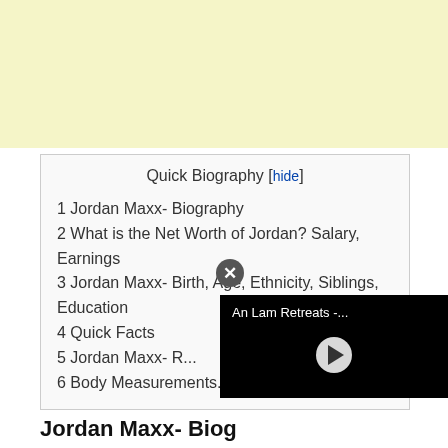[Figure (other): Light yellow advertisement banner at the top of the page]
Quick Biography [hide]
1 Jordan Maxx- Biography
2 What is the Net Worth of Jordan? Salary, Earnings
3 Jordan Maxx- Birth, Age, Ethnicity, Siblings, Education
4 Quick Facts
5 Jordan Maxx- R...
6 Body Measurements... Hair color
[Figure (screenshot): Black video player overlay showing 'An Lam Retreats -...' title and a play button, with a close (X) button]
Jordan Maxx- Biog...